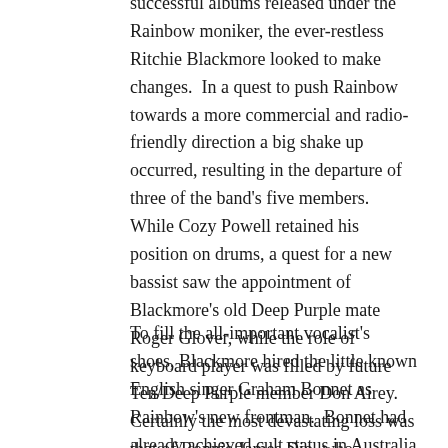successful albums released under the Rainbow moniker, the ever-restless Ritchie Blackmore looked to make changes.  In a quest to push Rainbow towards a more commercial and radio-friendly direction a big shake up occurred, resulting in the departure of three of the band's five members.  While Cozy Powell retained his position on drums, a quest for a new bassist saw the appointment of Blackmore's old Deep Purple mate Roger Glover, while the role of keyboard player was filled by future Ten/Deep Purple member Don Airey.  Certainly the most devastating loss was that of Ronnie James Dio, who supposedly had no interest in Blackmore's new vision for the band.  Since a talent like Dio's comes along once in a lifetime, perhaps other musicians would have fought to reach a compromise; but in any band featuring Ritchie Blackmore, Blackmore's decision is final.
To fill the all-important vocalist's shoes, Blackmore hired the little known English singer Graham Bonnet as Rainbow's new frontman.  Bonnet had already achieved cult status in Australia with the release of two solo records [1977's self-titled and 1978's 'No Bad Habits'], but frankly